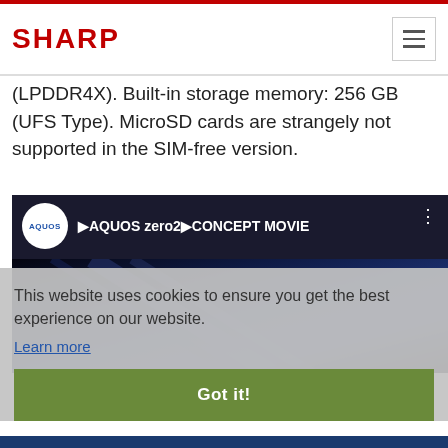SHARP
(LPDDR4X). Built-in storage memory: 256 GB (UFS Type). MicroSD cards are strangely not supported in the SIM-free version.
[Figure (screenshot): YouTube video thumbnail showing AQUOS zero2 CONCEPT MOVIE with AQUOS channel logo circle and three-dot menu button on dark background]
This website uses cookies to ensure you get the best experience on our website.
Learn more
Got it!